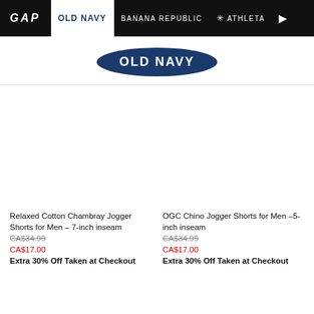GAP | OLD NAVY | BANANA REPUBLIC | ATHLETA
[Figure (logo): Old Navy oval logo in dark navy blue with white text]
[Figure (photo): Product image placeholder for Relaxed Cotton Chambray Jogger Shorts for Men – 7-inch inseam]
Relaxed Cotton Chambray Jogger Shorts for Men – 7-inch inseam
CA$34.99
CA$17.00
Extra 30% Off Taken at Checkout
[Figure (photo): Product image placeholder for OGC Chino Jogger Shorts for Men –5-inch inseam]
OGC Chino Jogger Shorts for Men –5-inch inseam
CA$34.99
CA$17.00
Extra 30% Off Taken at Checkout